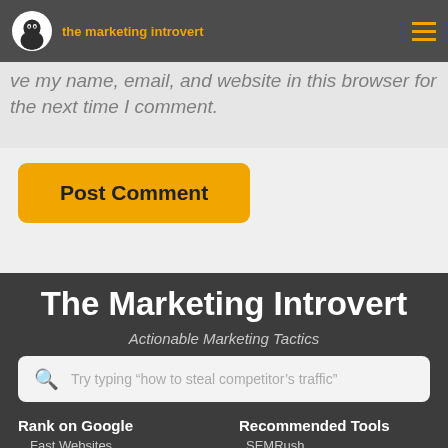the marketing introvert
ve my name, email, and website in this browser for the next time I comment.
Post Comment
The Marketing Introvert
Actionable Marketing Tactics
Try typing “how to steal competitor’s traffic”
Rank on Google
Recommended Tools
Fast Websites
SEMRush
High-Quality Content
Genesis Framework